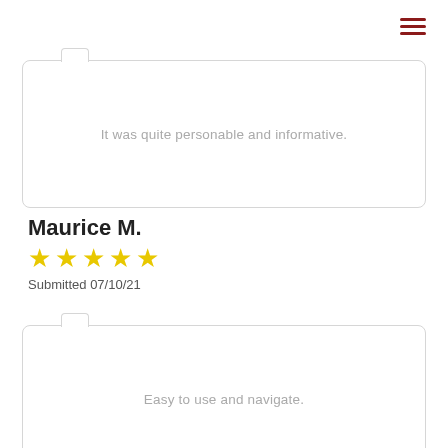[Figure (other): Hamburger menu icon with three dark red horizontal lines in top-right corner]
It was quite personable and informative.
Maurice M.
[Figure (other): Five yellow star rating icons]
Submitted 07/10/21
Easy to use and navigate.